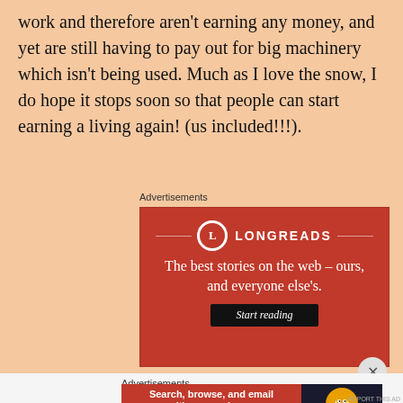work and therefore aren't earning any money, and yet are still having to pay out for big machinery which isn't being used.  Much as I love the snow, I do hope it stops soon so that people can start earning a living again! (us included!!!).
Advertisements
[Figure (other): Longreads advertisement banner with red background showing logo and tagline 'The best stories on the web – ours, and everyone else's.' with a 'Start reading' button]
[Figure (other): DuckDuckGo advertisement banner with text 'Search, browse, and email with more privacy. All in One Free App' and DuckDuckGo logo]
Advertisements